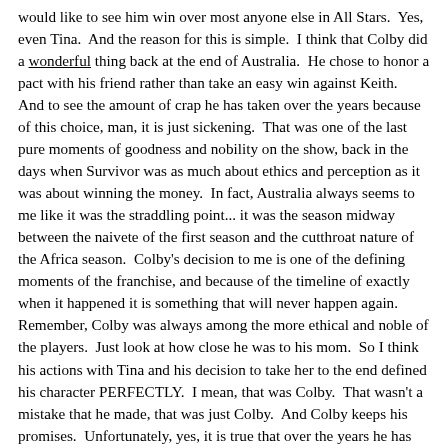would like to see him win over most anyone else in All Stars. Yes, even Tina. And the reason for this is simple. I think that Colby did a wonderful thing back at the end of Australia. He chose to honor a pact with his friend rather than take an easy win against Keith. And to see the amount of crap he has taken over the years because of this choice, man, it is just sickening. That was one of the last pure moments of goodness and nobility on the show, back in the days when Survivor was as much about ethics and perception as it was about winning the money. In fact, Australia always seems to me like it was the straddling point... it was the season midway between the naivete of the first season and the cutthroat nature of the Africa season. Colby's decision to me is one of the defining moments of the franchise, and because of the timeline of exactly when it happened it is something that will never happen again. Remember, Colby was always among the more ethical and noble of the players. Just look at how close he was to his mom. So I think his actions with Tina and his decision to take her to the end defined his character PERFECTLY. I mean, that was Colby. That wasn't a mistake that he made, that was just Colby. And Colby keeps his promises. Unfortunately, yes, it is true that over the years he has been ridiculed over and over for that decision. He has been ridiculed so long and so completely that by this point a lot of people forget the show was actually different back then. They are judging his decision by modern Survivor standards, and that is just silly. Anyway, I am just rambling now, but suffice it to say I